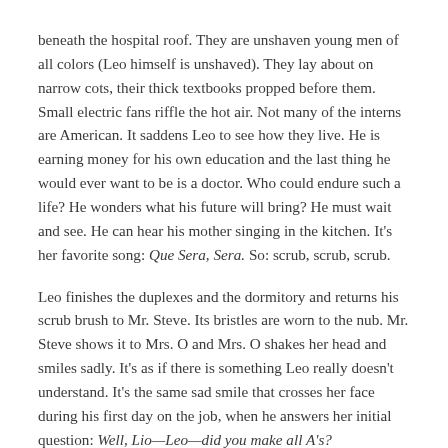beneath the hospital roof. They are unshaven young men of all colors (Leo himself is unshaved). They lay about on narrow cots, their thick textbooks propped before them. Small electric fans riffle the hot air. Not many of the interns are American. It saddens Leo to see how they live. He is earning money for his own education and the last thing he would ever want to be is a doctor. Who could endure such a life? He wonders what his future will bring? He must wait and see. He can hear his mother singing in the kitchen. It's her favorite song: Que Sera, Sera. So: scrub, scrub, scrub.
Leo finishes the duplexes and the dormitory and returns his scrub brush to Mr. Steve. Its bristles are worn to the nub. Mr. Steve shows it to Mrs. O and Mrs. O shakes her head and smiles sadly. It's as if there is something Leo really doesn't understand. It's the same sad smile that crosses her face during his first day on the job, when he answers her initial question: Well, Lio—Leo—did you make all A's?